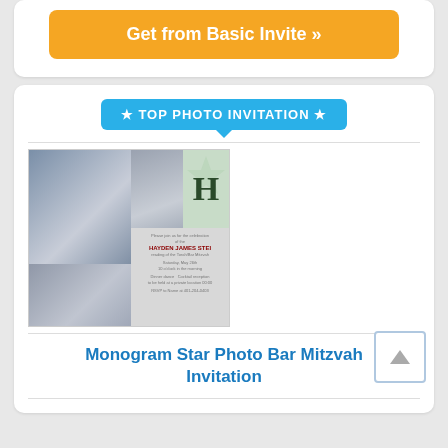Get from Basic Invite »
★ TOP PHOTO INVITATION ★
[Figure (illustration): A Bar Mitzvah photo invitation card showing multiple photos of a teenage boy and event details for Hayden James Ste[in], Saturday May 26th, 10 o'clock in the morning, with a green monogram star H design]
Monogram Star Photo Bar Mitzvah Invitation